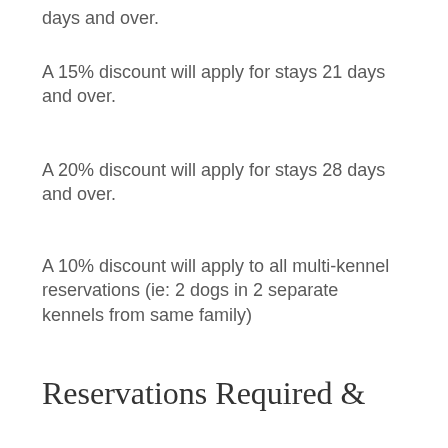days and over.
A 15% discount will apply for stays 21 days and over.
A 20% discount will apply for stays 28 days and over.
A 10% discount will apply to all multi-kennel reservations (ie:  2 dogs in 2 separate kennels from same family)
Reservations Required &